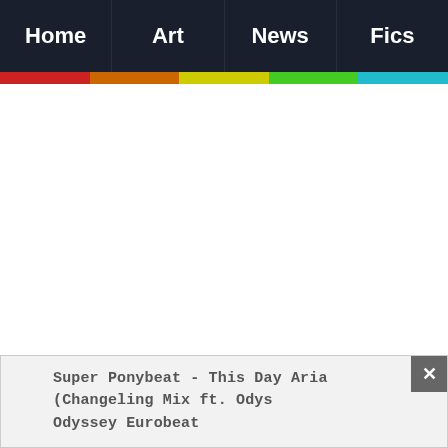Home | Art | News | Fics
[8] Source
Super Ponybeat - This Day Aria (Changeling Mix ft. Odyssey Eurobeat